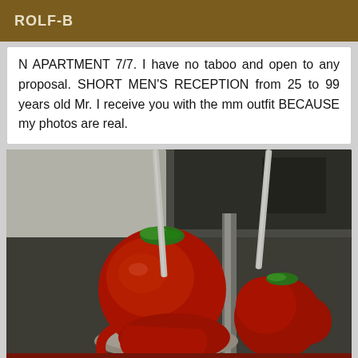ROLF-B
N APARTMENT 7/7. I have no taboo and open to any proposal. SHORT MEN'S RECEPTION from 25 to 99 years old Mr. I receive you with the mm outfit BECAUSE my photos are real.
[Figure (photo): Photo of red candy apples on sticks with green sprinkle toppings, placed in or near red ceramic mugs, on a plate, with a blurred kitchen background.]